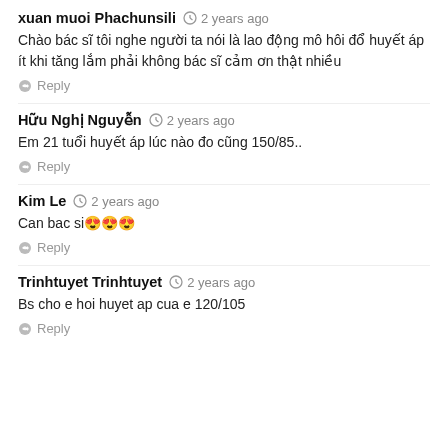xuan muoi Phachunsili · 2 years ago
Chào bác sĩ tôi nghe người ta nói là lao động mô hôi đổ huyết áp ít khi tăng lắm phải không bác sĩ cảm ơn thật nhiều
Reply
Hữu Nghị Nguyễn · 2 years ago
Em 21 tuổi huyết áp lúc nào đo cũng 150/85..
Reply
Kim Le · 2 years ago
Can bac si😍😍😍
Reply
Trinhtuyet Trinhtuyet · 2 years ago
Bs cho e hoi huyet ap cua e 120/105
Reply